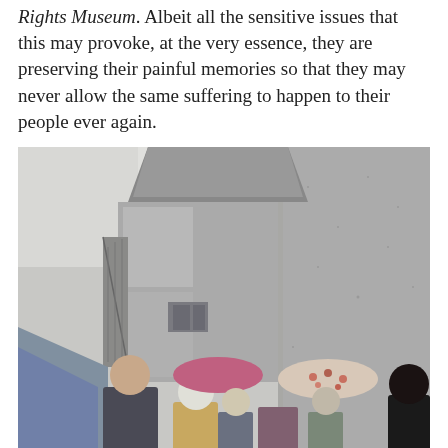Rights Museum. Albeit all the sensitive issues that this may provoke, at the very essence, they are preserving their painful memories so that they may never allow the same suffering to happen to their people ever again.
[Figure (photo): A group of people with umbrellas standing outside a brutalist concrete building, viewed from a low angle. The building features raw concrete walls and elevated walkways. It is a gloomy, overcast day.]
It was an incredibly gloomy and rainy day. It sets the...